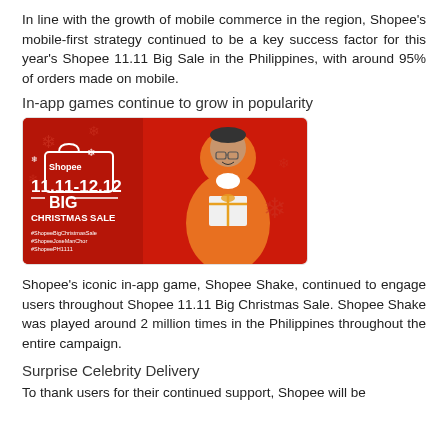In line with the growth of mobile commerce in the region, Shopee's mobile-first strategy continued to be a key success factor for this year's Shopee 11.11 Big Sale in the Philippines, with around 95% of orders made on mobile.
In-app games continue to grow in popularity
[Figure (photo): Shopee 11.11-12.12 Big Christmas Sale promotional banner featuring a smiling man in an orange sweater holding a gift box, with Shopee branding and hashtags on a red background.]
Shopee's iconic in-app game, Shopee Shake, continued to engage users throughout Shopee 11.11 Big Christmas Sale. Shopee Shake was played around 2 million times in the Philippines throughout the entire campaign.
Surprise Celebrity Delivery
To thank users for their continued support, Shopee will be